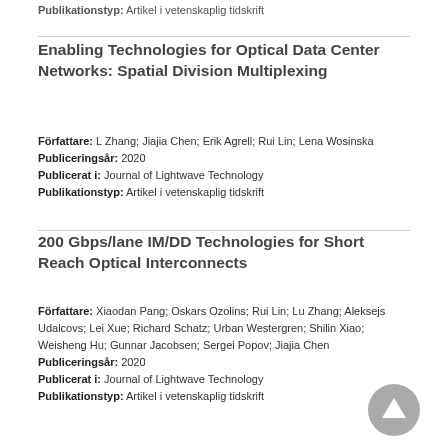Publikationstyp: Artikel i vetenskaplig tidskrift
Enabling Technologies for Optical Data Center Networks: Spatial Division Multiplexing
Författare: L Zhang; Jiajia Chen; Erik Agrell; Rui Lin; Lena Wosinska
Publiceringsår: 2020
Publicerat i: Journal of Lightwave Technology
Publikationstyp: Artikel i vetenskaplig tidskrift
200 Gbps/lane IM/DD Technologies for Short Reach Optical Interconnects
Författare: Xiaodan Pang; Oskars Ozolins; Rui Lin; Lu Zhang; Aleksejs Udalcovs; Lei Xue; Richard Schatz; Urban Westergren; Shilin Xiao; Weisheng Hu; Gunnar Jacobsen; Sergei Popov; Jiajia Chen
Publiceringsår: 2020
Publicerat i: Journal of Lightwave Technology
Publikationstyp: Artikel i vetenskaplig tidskrift